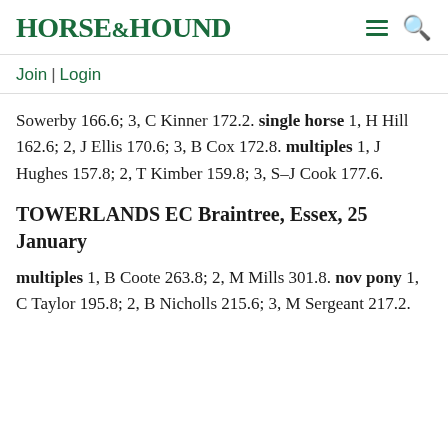HORSE&HOUND
Join | Login
Sowerby 166.6; 3, C Kinner 172.2. single horse 1, H Hill 162.6; 2, J Ellis 170.6; 3, B Cox 172.8. multiples 1, J Hughes 157.8; 2, T Kimber 159.8; 3, S–J Cook 177.6.
TOWERLANDS EC Braintree, Essex, 25 January
multiples 1, B Coote 263.8; 2, M Mills 301.8. nov pony 1, C Taylor 195.8; 2, B Nicholls 215.6; 3, M Sergeant 217.2.